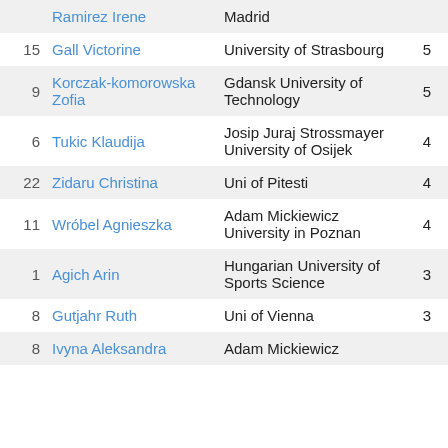| # | Name | University | Val1 | Val2 | Val3 |
| --- | --- | --- | --- | --- | --- |
|  | Ramirez Irene | Madrid |  |  |  |
| 15 | Gall Victorine | University of Strasbourg | 5 | 5 | 1.0 |
| 9 | Korczak-komorowska Zofia | Gdansk University of Technology | 5 | 5 | 1.0 |
| 6 | Tukic Klaudija | Josip Juraj Strossmayer University of Osijek | 4 | 5 | 0.8 |
| 22 | Zidaru Christina | Uni of Pitesti | 4 | 5 | 0.8 |
| 11 | Wróbel Agnieszka | Adam Mickiewicz University in Poznan | 4 | 5 | 0.8 |
| 1 | Agich Arin | Hungarian University of Sports Science | 3 | 5 | 0.6 |
| 8 | Gutjahr Ruth | Uni of Vienna | 3 | 5 | 0.6 |
| 8 | Ivyna Aleksandra | Adam Mickiewicz | ? | 5 | 0.4 |